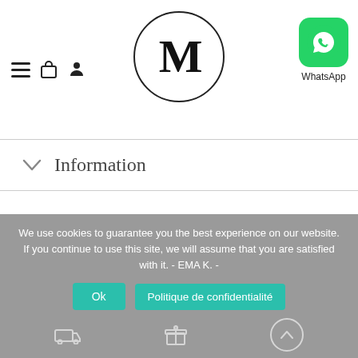Navigation header with hamburger menu, bag icon, user icon, M logo, and WhatsApp button
Information
Delivery
Returns - Refunds
DO YOU NEED HELP ?
We use cookies to guarantee you the best experience on our website. If you continue to use this site, we will assume that you are satisfied with it. - EMA K. -
Ok
Politique de confidentialité